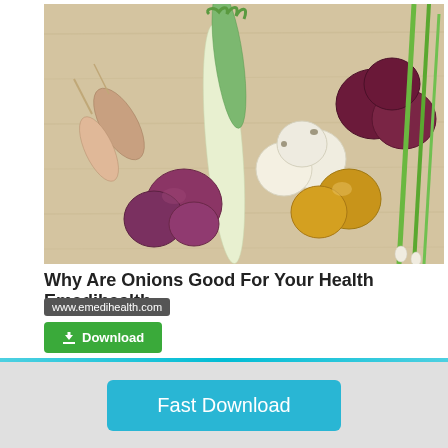[Figure (photo): Photograph of various types of onions and spring onions arranged on a light wooden surface: shallots, leeks, white onions, red onions, yellow onions, and green onions/scallions.]
Why Are Onions Good For Your Health Emedihealth
www.emedihealth.com
Download
Fast Download